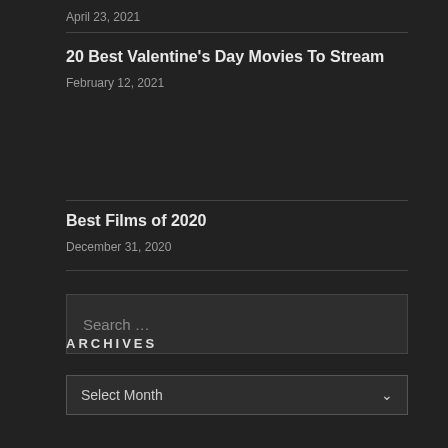April 23, 2021
20 Best Valentine's Day Movies To Stream
February 12, 2021
Best Films of 2020
December 31, 2020
Search …
ARCHIVES
Select Month